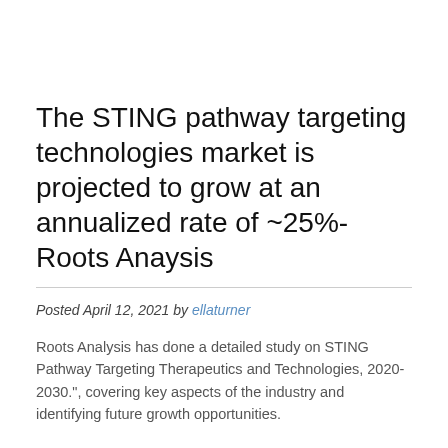The STING pathway targeting technologies market is projected to grow at an annualized rate of ~25%- Roots Anaysis
Posted April 12, 2021 by ellaturner
Roots Analysis has done a detailed study on STING Pathway Targeting Therapeutics and Technologies, 2020-2030.", covering key aspects of the industry and identifying future growth opportunities.